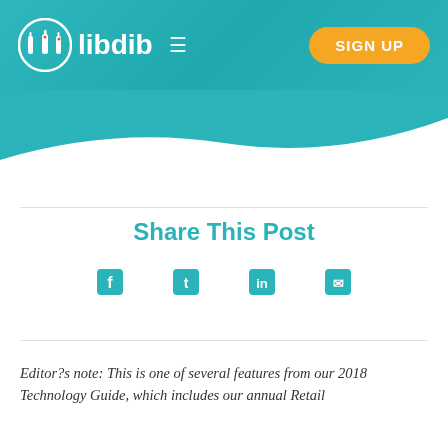libdib — SIGN UP
[Figure (logo): Libdib logo with three bottle icons in a circle and the text 'libdib' in white, plus a hamburger menu icon and a teal/orange SIGN UP button]
Share This Post
[Figure (other): Four teal social media sharing icons (Facebook, Twitter, LinkedIn, Email/other)]
Editor?s note: This is one of several features from our 2018 Technology Guide, which includes our annual Retail